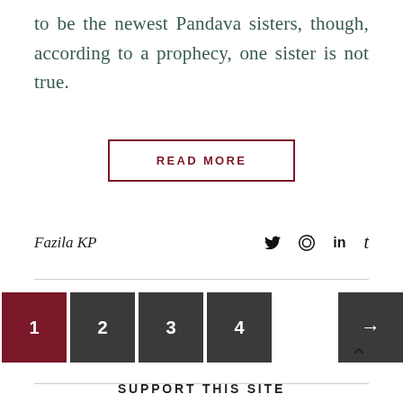to be the newest Pandava sisters, though, according to a prophecy, one sister is not true.
READ MORE
Fazila KP
1 2 3 4 →
SUPPORT THIS SITE